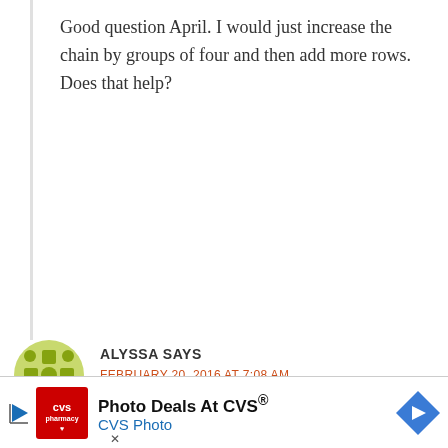Good question April. I would just increase the chain by groups of four and then add more rows. Does that help?
Reply
ALYSSA SAYS
FEBRUARY 20, 2016 AT 7:08 AM
While doing this, *Four bpdc, four fpdc.* Repeat from * to * 16 times, I only repeated the pattern 8 times and not 16. There are 16 each of the four, but only 8 more of the two. Is this h…
[Figure (other): CVS Photo advertisement banner at the bottom of the page]